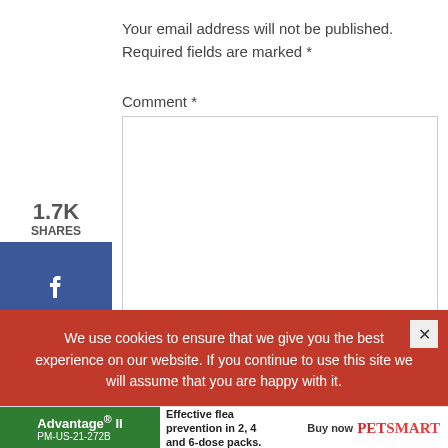Your email address will not be published. Required fields are marked *
Comment *
[Figure (screenshot): Social share sidebar with 1.7K shares count, Facebook button showing 1, Twitter button showing 2, Pinterest button showing 1.7K]
[Figure (screenshot): Comment text area input box]
We use cookies to ensure that we give you the best experience on our website. If you continue to use this site we will assume that you are happy with it.
[Figure (screenshot): Advertisement banner for Advantage II flea prevention and PetSmart]